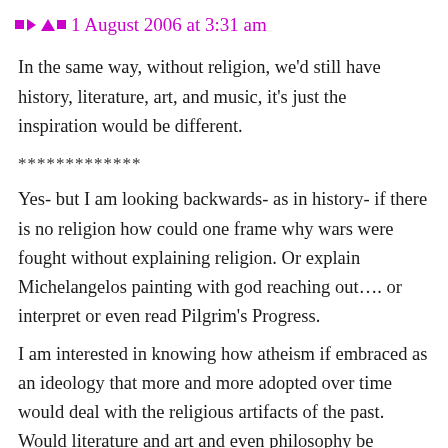1 August 2006 at 3:31 am
In the same way, without religion, we'd still have history, literature, art, and music, it's just the inspiration would be different.
*************
Yes- but I am looking backwards- as in history- if there is no religion how could one frame why wars were fought without explaining religion. Or explain Michelangelos painting with god reaching out…. or interpret or even read Pilgrim's Progress.
I am interested in knowing how atheism if embraced as an ideology that more and more adopted over time would deal with the religious artifacts of the past. Would literature and art and even philosophy be expendable?
Would religion still retain its power if traces were